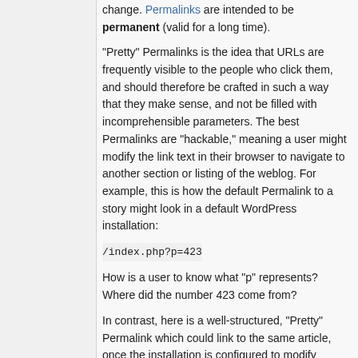change. Permalinks are intended to be permanent (valid for a long time).
"Pretty" Permalinks is the idea that URLs are frequently visible to the people who click them, and should therefore be crafted in such a way that they make sense, and not be filled with incomprehensible parameters. The best Permalinks are "hackable," meaning a user might modify the link text in their browser to navigate to another section or listing of the weblog. For example, this is how the default Permalink to a story might look in a default WordPress installation:
/index.php?p=423
How is a user to know what "p" represents? Where did the number 423 come from?
In contrast, here is a well-structured, "Pretty" Permalink which could link to the same article, once the installation is configured to modify permalinks:
/archives/2003/05/23/my-cheese-sandwich/